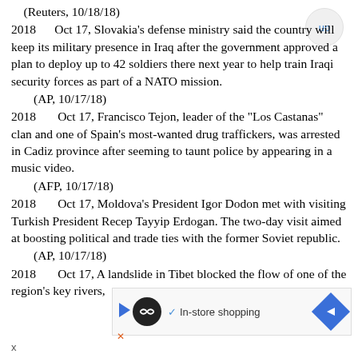(Reuters, 10/18/18)
2018      Oct 17, Slovakia's defense ministry said the country will keep its military presence in Iraq after the government approved a plan to deploy up to 42 soldiers there next year to help train Iraqi security forces as part of a NATO mission.
(AP, 10/17/18)
2018       Oct 17, Francisco Tejon, leader of the "Los Castanas" clan and one of Spain's most-wanted drug traffickers, was arrested in Cadiz province after seeming to taunt police by appearing in a music video.
(AFP, 10/17/18)
2018       Oct 17, Moldova's President Igor Dodon met with visiting Turkish President Recep Tayyip Erdogan. The two-day visit aimed at boosting political and trade ties with the former Soviet republic.
(AP, 10/17/18)
2018       Oct 17, A landslide in Tibet blocked the flow of one of the region's key rivers,
[Figure (other): Advertisement banner showing an infinity loop icon, a play button, a checkmark, 'In-store shopping' text, and a blue navigation arrow icon.]